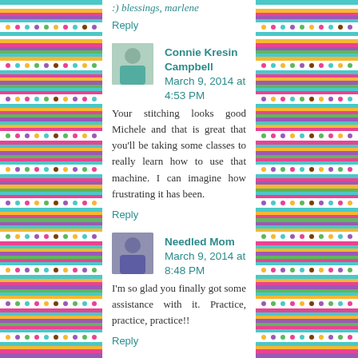:) blessings, marlene
Reply
Connie Kresin Campbell  March 9, 2014 at 4:53 PM
Your stitching looks good Michele and that is great that you'll be taking some classes to really learn how to use that machine. I can imagine how frustrating it has been.
Reply
Needled Mom  March 9, 2014 at 8:48 PM
I'm so glad you finally got some assistance with it. Practice, practice, practice!!
Reply
Anonymous  March 11, 2014 at 9:58 AM
It really won't be long and you'll wonder what the 'fuss' was all about!!! You'll be quilting just like you envision!!! There are